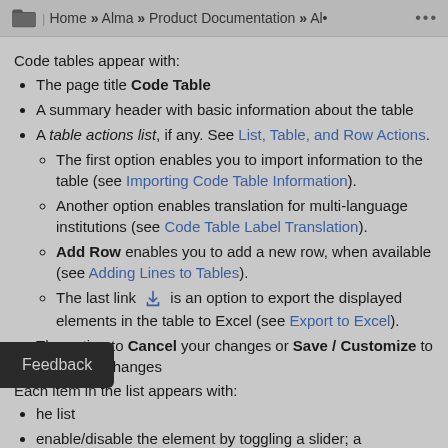Home » Alma » Product Documentation » Al•
Code tables appear with:
The page title Code Table
A summary header with basic information about the table
A table actions list, if any. See List, Table, and Row Actions.
The first option enables you to import information to the table (see Importing Code Table Information).
Another option enables translation for multi-language institutions (see Code Table Label Translation).
Add Row enables you to add a new row, when available (see Adding Lines to Tables).
The last link [icon] is an option to export the displayed elements in the table to Excel (see Export to Excel).
The option to Cancel your changes or Save / Customize to save your changes
Each item in the list appears with:
he list
enable/disable the element by toggling a slider; a
Feedback